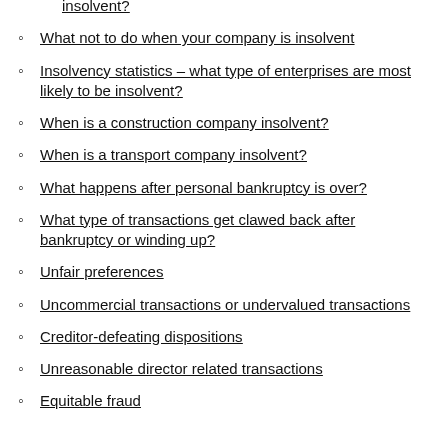insolvent?
What not to do when your company is insolvent
Insolvency statistics – what type of enterprises are most likely to be insolvent?
When is a construction company insolvent?
When is a transport company insolvent?
What happens after personal bankruptcy is over?
What type of transactions get clawed back after bankruptcy or winding up?
Unfair preferences
Uncommercial transactions or undervalued transactions
Creditor-defeating dispositions
Unreasonable director related transactions
Equitable fraud